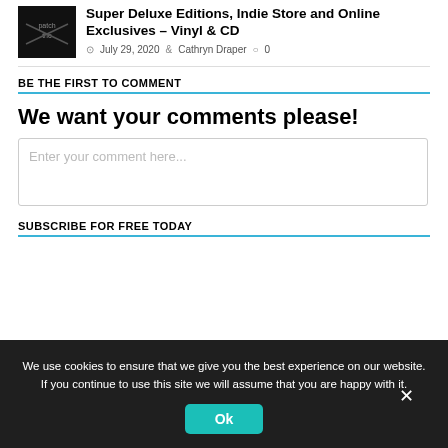Super Deluxe Editions, Indie Store and Online Exclusives – Vinyl & CD
July 29, 2020  Cathryn Draper  0
BE THE FIRST TO COMMENT
We want your comments please!
Enter your comment here...
SUBSCRIBE FOR FREE TODAY
We use cookies to ensure that we give you the best experience on our website. If you continue to use this site we will assume that you are happy with it.